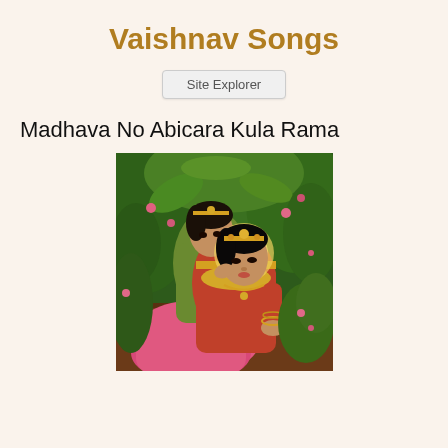Vaishnav Songs
Site Explorer
Madhava No Abicara Kula Rama
[Figure (illustration): Traditional Indian painting depicting two women in classical attire — one in green and pink sitting behind, whispering to another woman in red and gold who leans forward with a golden halo, surrounded by lush green foliage and flowers.]